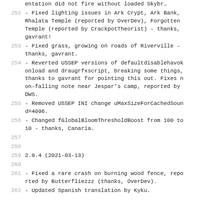252  - Fixed lighting issues in Ark Crypt, Ark Bank, Rhalata Temple (reported by OverDev), Forgotten Temple (reported by CrackpotTheorist) - thanks, gavrant!
253  - Fixed grass, growing on roads of Riverville - thanks, gavrant.
254  - Reverted USSEP versions of defaultdisablehavokonload and draugrfxscript, breaking some things, thanks to gavrant for pointing this out. Fixes non-falling note near Jespar's camp, reported by DWS.
255  - Removed USSEP INI change uMaxSizeForCachedSound=4096.
256  - Changed fGlobalBloomThresholdBoost from 100 to 10 - thanks, Canaria.
257
258
259  2.0.4 (2021-03-13)
260
261  - Fixed a rare crash on burning wood fence, reported by Butterfliezzz (thanks, OverDev).
262  - Updated Spanish translation by Kyku.